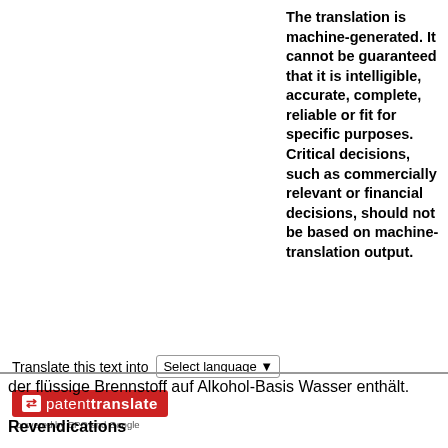The translation is machine-generated. It cannot be guaranteed that it is intelligible, accurate, complete, reliable or fit for specific purposes. Critical decisions, such as commercially relevant or financial decisions, should not be based on machine-translation output.
Translate this text into
[Figure (screenshot): patenttranslate logo with red background, arrows icon, text 'patenttranslate' and 'powered by EPO and Google' below]
der flüssige Brennstoff auf Alkohol-Basis Wasser enthält.
Revendications